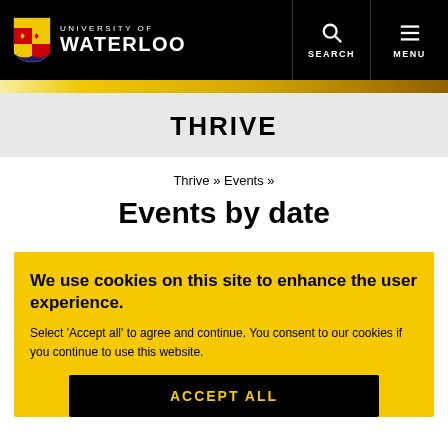University of Waterloo — SEARCH / MENU navigation bar
THRIVE
Thrive » Events »
Events by date
We use cookies on this site to enhance the user experience.
Select 'Accept all' to agree and continue. You consent to our cookies if you continue to use this website.
ACCEPT ALL